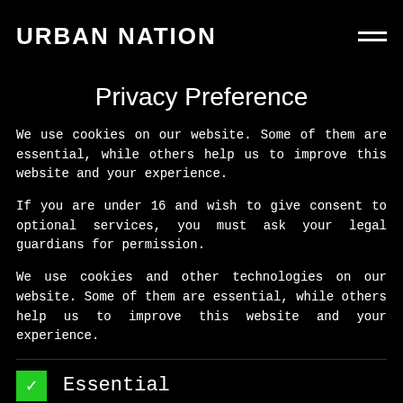URBAN NATION
Privacy Preference
We use cookies on our website. Some of them are essential, while others help us to improve this website and your experience.
If you are under 16 and wish to give consent to optional services, you must ask your legal guardians for permission.
We use cookies and other technologies on our website. Some of them are essential, while others help us to improve this website and your experience.
Essential (checked)
Statistics (unchecked)